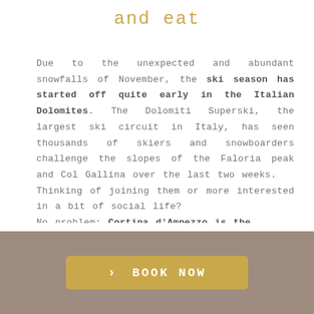and eat
Due to the unexpected and abundant snowfalls of November, the ski season has started off quite early in the Italian Dolomites. The Dolomiti Superski, the largest ski circuit in Italy, has seen thousands of skiers and snowboarders challenge the slopes of the Faloria peak and Col Gallina over the last two weeks. Thinking of joining them or more interested in a bit of social life? No problem: Cortina d'Ampezzo is the
BOOK NOW